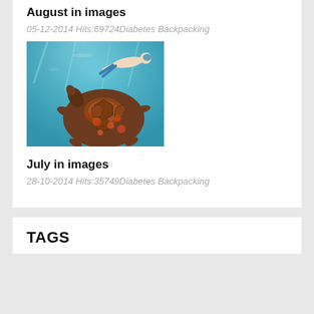August in images
05-12-2014 Hits:69724Diabetes Backpacking
[Figure (photo): Underwater photo showing a sea turtle and a snorkeler swimming in blue-green water]
July in images
28-10-2014 Hits:35749Diabetes Backpacking
TAGS